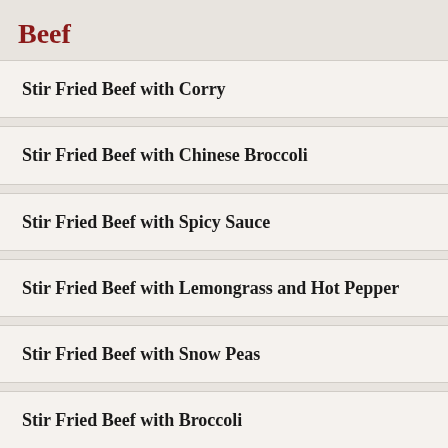Beef
Stir Fried Beef with Corry
Stir Fried Beef with Chinese Broccoli
Stir Fried Beef with Spicy Sauce
Stir Fried Beef with Lemongrass and Hot Pepper
Stir Fried Beef with Snow Peas
Stir Fried Beef with Broccoli